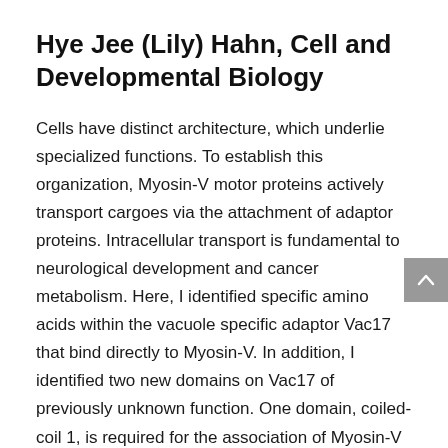Hye Jee (Lily) Hahn, Cell and Developmental Biology
Cells have distinct architecture, which underlie specialized functions. To establish this organization, Myosin-V motor proteins actively transport cargoes via the attachment of adaptor proteins. Intracellular transport is fundamental to neurological development and cancer metabolism. Here, I identified specific amino acids within the vacuole specific adaptor Vac17 that bind directly to Myosin-V. In addition, I identified two new domains on Vac17 of previously unknown function. One domain, coiled-coil 1, is required for the association of Myosin-V to the vacuole. The function of coiled-